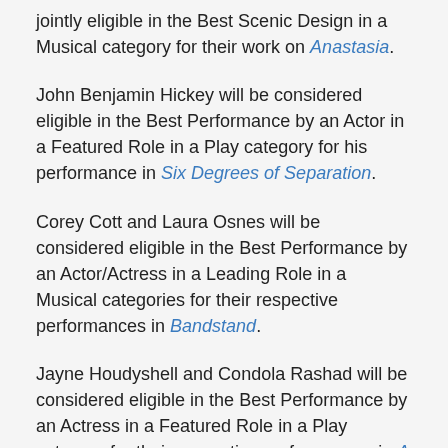jointly eligible in the Best Scenic Design in a Musical category for their work on Anastasia.
John Benjamin Hickey will be considered eligible in the Best Performance by an Actor in a Featured Role in a Play category for his performance in Six Degrees of Separation.
Corey Cott and Laura Osnes will be considered eligible in the Best Performance by an Actor/Actress in a Leading Role in a Musical categories for their respective performances in Bandstand.
Jayne Houdyshell and Condola Rashad will be considered eligible in the Best Performance by an Actress in a Featured Role in a Play category for their respective performances in A Doll’s House, Part 2.